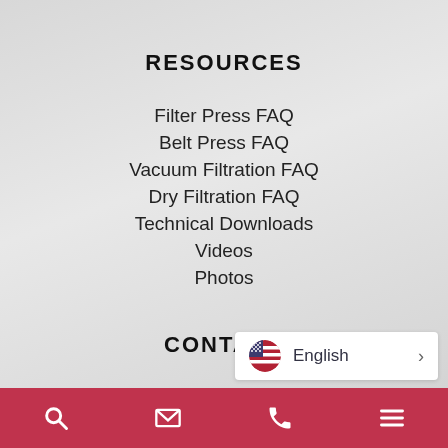RESOURCES
Filter Press FAQ
Belt Press FAQ
Vacuum Filtration FAQ
Dry Filtration FAQ
Technical Downloads
Videos
Photos
CONTACT
English